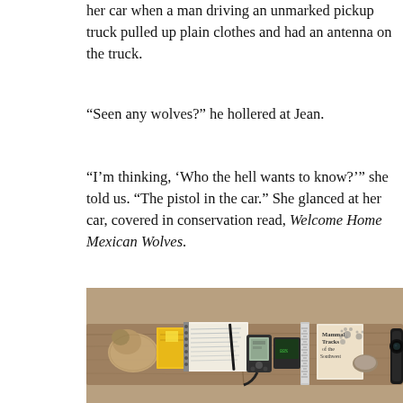her car when a man driving an unmarked pickup truck pulled up plain clothes and had an antenna on the truck.
“Seen any wolves?” he hollered at Jean.
“I’m thinking, ‘Who the hell wants to know?’” she told us. “The pistol in the car.” She glanced at her car, covered in conservation read, Welcome Home Mexican Wolves.
[Figure (photo): A wooden plank surface with field research equipment laid out: a fur/wolf figurine, a yellow notebook, a spiral-bound field notebook with a pen, a GPS device, a battery pack, a metal ruler, a book titled 'Mammal Tracks of the Southwest' with paw print illustrations, a rock, and what appears to be binoculars on the right edge, all resting on a weathered wooden board against a sandy/gravelly background.]